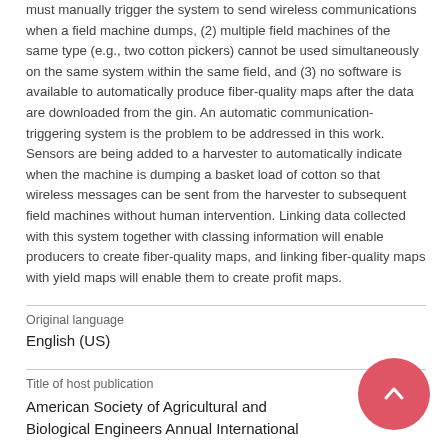must manually trigger the system to send wireless communications when a field machine dumps, (2) multiple field machines of the same type (e.g., two cotton pickers) cannot be used simultaneously on the same system within the same field, and (3) no software is available to automatically produce fiber-quality maps after the data are downloaded from the gin. An automatic communication-triggering system is the problem to be addressed in this work. Sensors are being added to a harvester to automatically indicate when the machine is dumping a basket load of cotton so that wireless messages can be sent from the harvester to subsequent field machines without human intervention. Linking data collected with this system together with classing information will enable producers to create fiber-quality maps, and linking fiber-quality maps with yield maps will enable them to create profit maps.
Original language
English (US)
Title of host publication
American Society of Agricultural and Biological Engineers Annual International